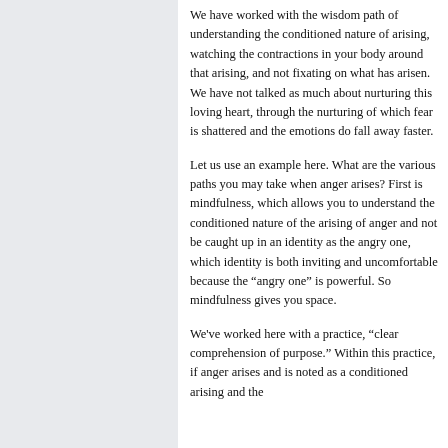We have worked with the wisdom path of understanding the conditioned nature of arising, watching the contractions in your body around that arising, and not fixating on what has arisen. We have not talked as much about nurturing this loving heart, through the nurturing of which fear is shattered and the emotions do fall away faster.
Let us use an example here. What are the various paths you may take when anger arises? First is mindfulness, which allows you to understand the conditioned nature of the arising of anger and not be caught up in an identity as the angry one, which identity is both inviting and uncomfortable because the “angry one” is powerful. So mindfulness gives you space.
We've worked here with a practice, “clear comprehension of purpose.” Within this practice, if anger arises and is noted as a conditioned arising and the